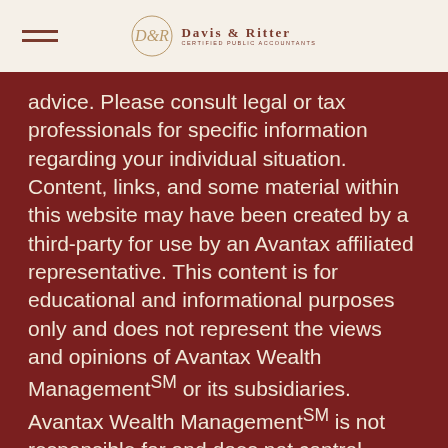Davis & Ritter
advice. Please consult legal or tax professionals for specific information regarding your individual situation.
Content, links, and some material within this website may have been created by a third-party for use by an Avantax affiliated representative. This content is for educational and informational purposes only and does not represent the views and opinions of Avantax Wealth ManagementSM or its subsidiaries. Avantax Wealth ManagementSM is not responsible for and does not control, adopt, or endorse any content contained on any third-party website.